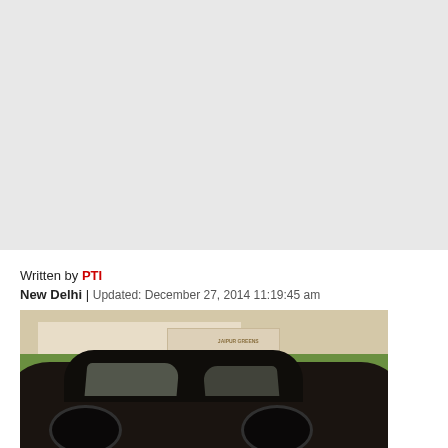[Figure (other): Gray advertisement/banner placeholder block at top of page]
Written by PTI
New Delhi | Updated: December 27, 2014 11:19:45 am
[Figure (photo): Photo of a dark-colored sedan car parked in front of a building with greenery, with a sign reading 'Jaipur Greens' visible in the background]